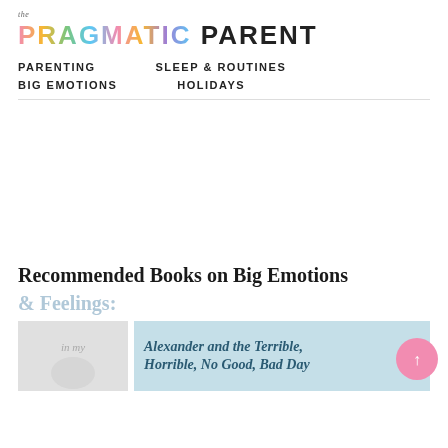the Pragmatic Parent
PARENTING
SLEEP & ROUTINES
BIG EMOTIONS
HOLIDAYS
Recommended Books on Big Emotions & Feelings:
[Figure (photo): Partial book cover image on left side, and book title panel showing 'Alexander and the Terrible,...' on teal/blue background on the right]